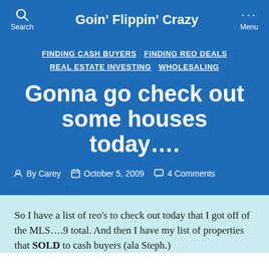Goin' Flippin' Crazy
FINDING CASH BUYERS  FINDING REO DEALS  REAL ESTATE INVESTING  WHOLESALING
Gonna go check out some houses today....
By Carey  October 5, 2009  4 Comments
So I have a list of reo’s to check out today that I got off of the MLS….9 total. And then I have my list of properties that SOLD to cash buyers (ala Steph.)